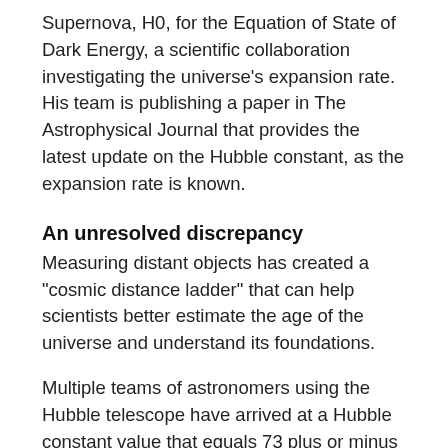Supernova, H0, for the Equation of State of Dark Energy, a scientific collaboration investigating the universe's expansion rate. His team is publishing a paper in The Astrophysical Journal that provides the latest update on the Hubble constant, as the expansion rate is known.
An unresolved discrepancy
Measuring distant objects has created a "cosmic distance ladder" that can help scientists better estimate the age of the universe and understand its foundations.
Multiple teams of astronomers using the Hubble telescope have arrived at a Hubble constant value that equals 73 plus or minus 1 kilometre